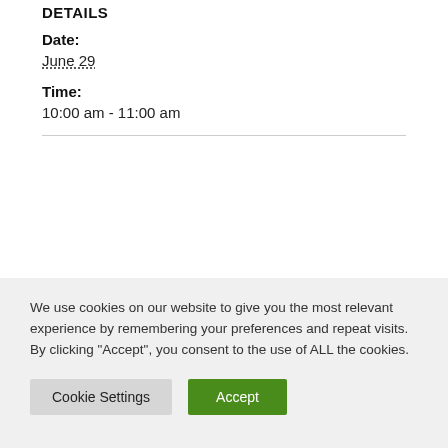DETAILS
Date:
June 29
Time:
10:00 am - 11:00 am
We use cookies on our website to give you the most relevant experience by remembering your preferences and repeat visits. By clicking "Accept", you consent to the use of ALL the cookies.